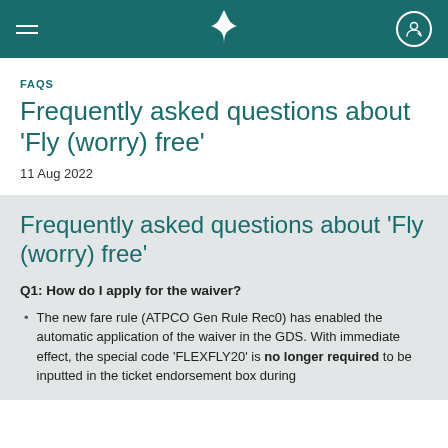Cathay Pacific navigation header
FAQS
Frequently asked questions about ‘Fly (worry) free’
11 Aug 2022
Frequently asked questions about ‘Fly (worry) free’
Q1: How do I apply for the waiver?
The new fare rule (ATPCO Gen Rule Rec0) has enabled the automatic application of the waiver in the GDS. With immediate effect, the special code ‘FLEXFLY20’ is no longer required to be inputted in the ticket endorsement box during